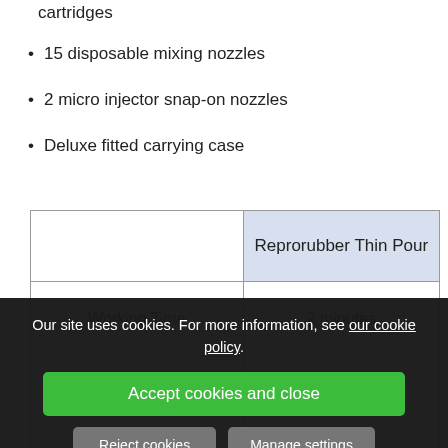cartridges
15 disposable mixing nozzles
2 micro injector snap-on nozzles
Deluxe fitted carrying case
|  | Reprorubber Thin Pour |
| --- | --- |
| Working Time | 2 minutes |
| Setting Time | 10-15 minutes |
| Deformation | 0.2% |
Our site uses cookies. For more information, see our cookie policy.